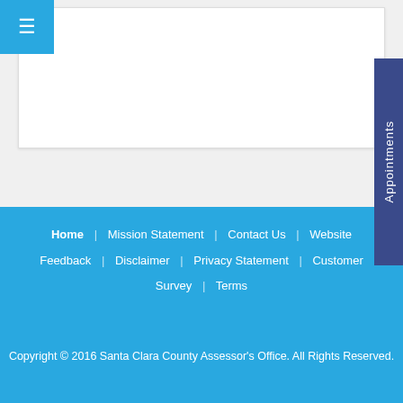[Figure (screenshot): Blue hamburger menu button in top-left corner]
[Figure (screenshot): White content card area with form elements partially visible]
[Figure (screenshot): Appointments vertical tab on right side with dark blue background]
Home | Mission Statement | Contact Us | Website Feedback | Disclaimer | Privacy Statement | Customer Survey | Terms
Copyright © 2016 Santa Clara County Assessor's Office. All Rights Reserved.